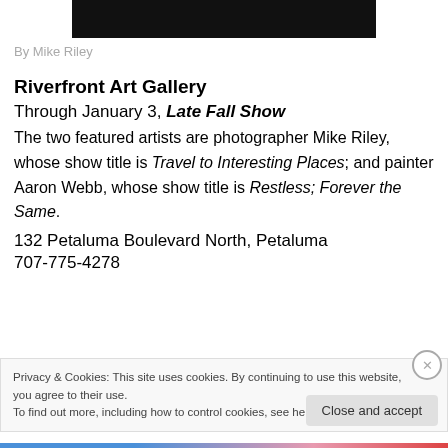[Figure (photo): Black bar image at top of page (cropped photo, mostly black)]
By Mike Riley
Riverfront Art Gallery
Through January 3, Late Fall Show
The two featured artists are photographer Mike Riley, whose show title is Travel to Interesting Places; and painter Aaron Webb, whose show title is Restless; Forever the Same.
132 Petaluma Boulevard North, Petaluma
707-775-4278
Privacy & Cookies: This site uses cookies. By continuing to use this website, you agree to their use.
To find out more, including how to control cookies, see here: Cookie Policy